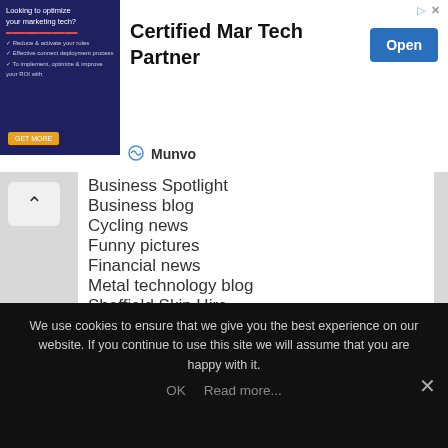[Figure (screenshot): Advertisement banner for Certified Mar Tech Partner by Munvo with an image of a person at a laptop, a blue Open button, and sponsor icons.]
Business Spotlight
Business blog
Cycling news
Funny pictures
Financial news
Metal technology blog
Sheffield Skip Hire
Dentist in Sheffield
Social Media Manager Sheffield
We use cookies to ensure that we give you the best experience on our website. If you continue to use this site we will assume that you are happy with it.
OK   Read more...